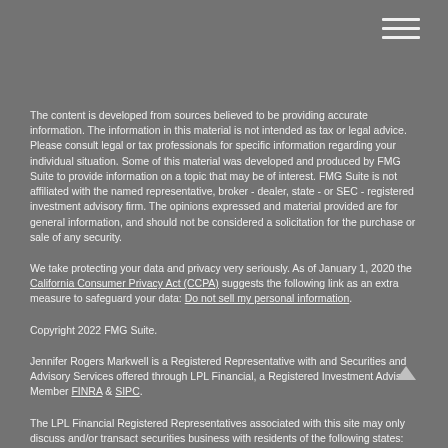The content is developed from sources believed to be providing accurate information. The information in this material is not intended as tax or legal advice. Please consult legal or tax professionals for specific information regarding your individual situation. Some of this material was developed and produced by FMG Suite to provide information on a topic that may be of interest. FMG Suite is not affiliated with the named representative, broker - dealer, state - or SEC - registered investment advisory firm. The opinions expressed and material provided are for general information, and should not be considered a solicitation for the purchase or sale of any security.
We take protecting your data and privacy very seriously. As of January 1, 2020 the California Consumer Privacy Act (CCPA) suggests the following link as an extra measure to safeguard your data: Do not sell my personal information.
Copyright 2022 FMG Suite.
Jennifer Rogers Markwell is a Registered Representative with and Securities and Advisory Services offered through LPL Financial, a Registered Investment Advisor. Member FINRA & SIPC.
The LPL Financial Registered Representatives associated with this site may only discuss and/or transact securities business with residents of the following states: AZ, CA, CO, FL, IL, MT, NV, OR, PA,TX, UT, WA